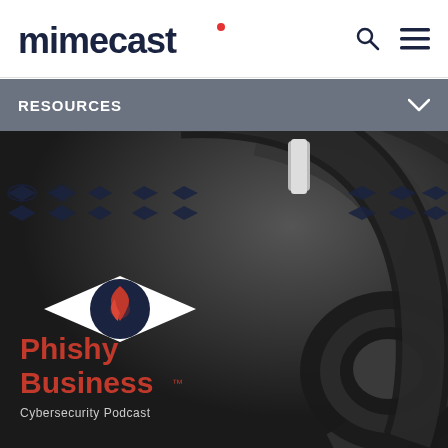[Figure (logo): Mimecast logo with stylized text in dark navy and a red dot after the name, with search and hamburger menu icons on the right]
RESOURCES
[Figure (photo): Black and white photo of studio headphones and a condenser microphone, overlaid with a decorative dark navy fish/eye pattern row, the Phishy Business podcast logo (eye with fish shape and flame icon), the text 'Phishy Business™ Cybersecurity Podcast' in red and grey on a dark background]